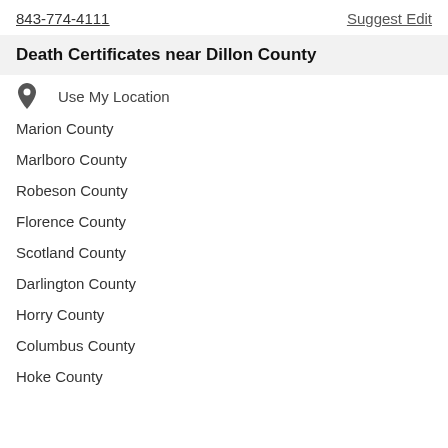843-774-4111
Suggest Edit
Death Certificates near Dillon County
Use My Location
Marion County
Marlboro County
Robeson County
Florence County
Scotland County
Darlington County
Horry County
Columbus County
Hoke County